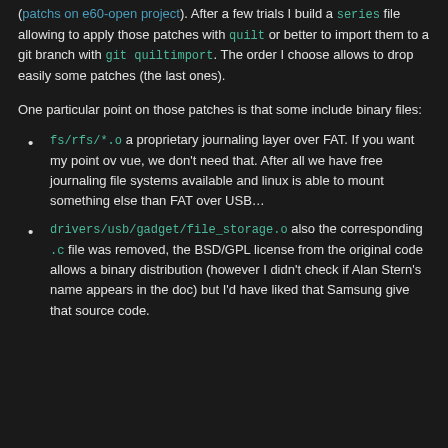(patchs on e60-open project). After a few trials I build a series file allowing to apply those patches with quilt or better to import them to a git branch with git quiltimport. The order I choose allows to drop easily some patches (the last ones).
One particular point on those patches is that some include binary files:
fs/rfs/*.o a proprietary journaling layer over FAT. If you want my point ov vue, we don't need that. After all we have free journaling file systems available and linux is able to mount something else than FAT over USB…
drivers/usb/gadget/file_storage.o also the corresponding .c file was removed, the BSD/GPL license from the original code allows a binary distribution (however I didn't check if Alan Stern's name appears in the doc) but I'd have liked that Samsung give that source code.